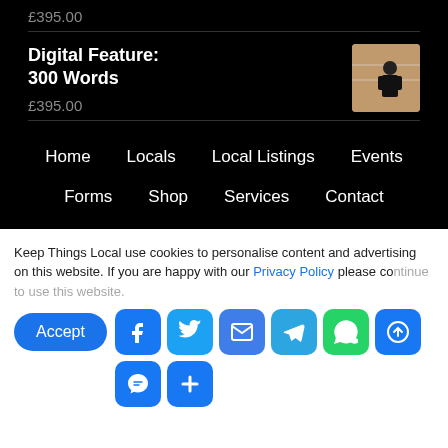£395.00
Digital Feature: 300 Words
£395.00
[Figure (photo): Small product thumbnail photo of a person in a store]
Home  Locals  Local Listings  Events  Forms  Shop  Services  Contact
Keep Things Local use cookies to personalise content and advertising on this website. If you are happy with our Privacy Policy please continue to use this website.
[Figure (other): Social share buttons: Facebook, Twitter, Email, Telegram, WhatsApp, Link, Messenger, More]
Accept